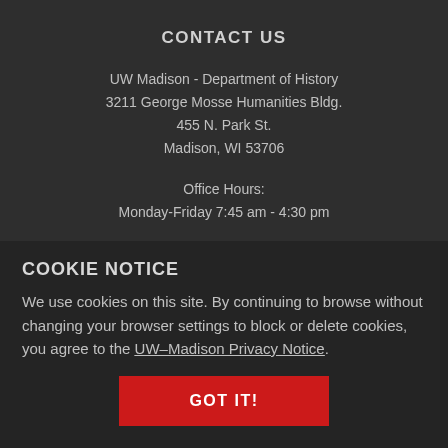CONTACT US
UW Madison - Department of History
3211 George Mosse Humanities Bldg.
455 N. Park St.
Madison, WI 53706
Office Hours:
Monday-Friday 7:45 am - 4:30 pm
Phone: 608.263.1800
Fax: 608.263.5302
COOKIE NOTICE
We use cookies on this site. By continuing to browse without changing your browser settings to block or delete cookies, you agree to the UW–Madison Privacy Notice.
GOT IT!